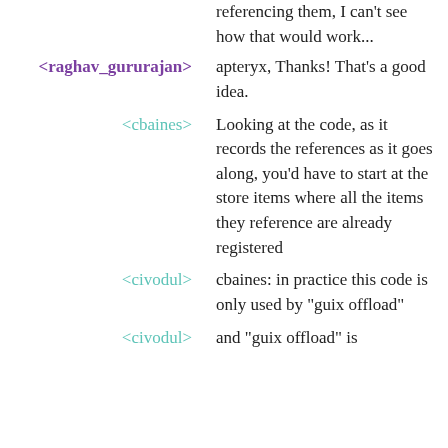referencing them, I can't see how that would work...
<raghav_gururajan> apteryx, Thanks! That's a good idea.
<cbaines> Looking at the code, as it records the references as it goes along, you'd have to start at the store items where all the items they reference are already registered
<civodul> cbaines: in practice this code is only used by "guix offload"
<civodul> and "guix offload" is